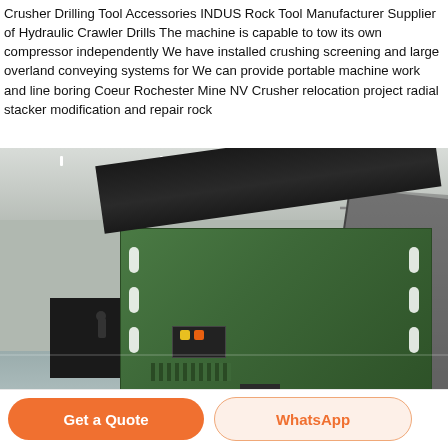Crusher Drilling Tool Accessories INDUS Rock Tool Manufacturer Supplier of Hydraulic Crawler Drills The machine is capable to tow its own compressor independently We have installed crushing screening and large overland conveying systems for We can provide portable machine work and line boring Coeur Rochester Mine NV Crusher relocation project radial stacker modification and repair rock
[Figure (photo): Industrial photo of a large green crusher/mining machine in a warehouse/factory setting. The machine has a black angled top hood and green body with white oval indicator lights. Background shows steel structural beams, a large dark machinery unit on the right, and a person walking in the background. The factory floor is reflective.]
Get a Quote
WhatsApp